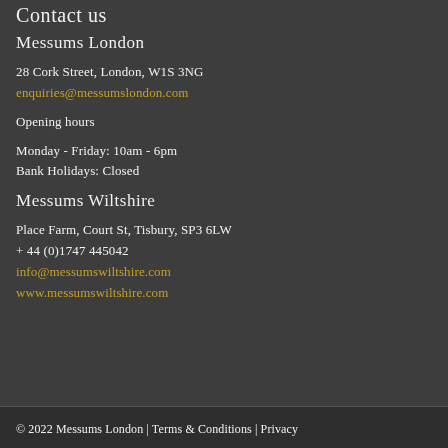Contact us
Messums London
28 Cork Street, London, W1S 3NG
enquiries@messumslondon.com
Opening hours
Monday - Friday: 10am - 6pm
Bank Holidays: Closed
Messums Wiltshire
Place Farm, Court St, Tisbury, SP3 6LW
+ 44 (0)1747 445042
info@messumswiltshire.com
www.messumswiltshire.com
© 2022 Messums London | Terms & Conditions | Privacy